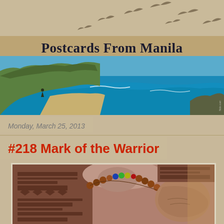[Figure (illustration): Blog header banner for 'Postcards From Manila' with flying bird silhouettes on sandy/tan background, title text, and a coastal landscape photo below showing green cliffs, sandy shore, and blue ocean water]
Monday, March 25, 2013
#218 Mark of the Warrior
[Figure (photo): Close-up photo of a person with traditional tribal tattoos covering their shoulder and chest, wearing a colorful beaded necklace with brown, blue, yellow and green beads]